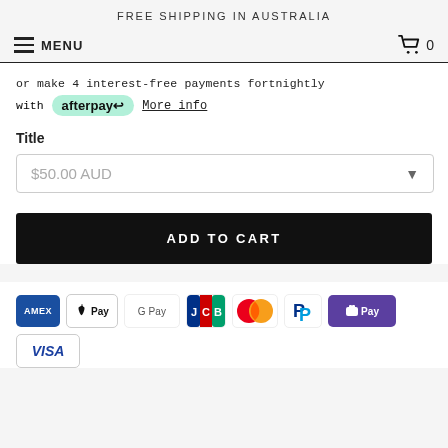FREE SHIPPING IN AUSTRALIA
MENU
0
or make 4 interest-free payments fortnightly with afterpay More info
Title
$50.00 AUD
ADD TO CART
[Figure (other): Payment method icons: American Express, Apple Pay, Google Pay, JCB, Mastercard, PayPal, Shop Pay, Visa]